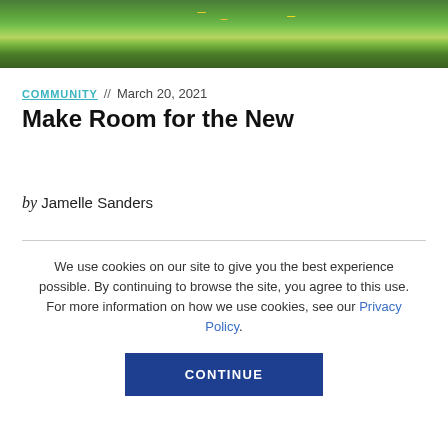[Figure (photo): Hero image showing a meadow with yellow wildflowers and green grass]
COMMUNITY // March 20, 2021
Make Room for the New
by Jamelle Sanders
We use cookies on our site to give you the best experience possible. By continuing to browse the site, you agree to this use. For more information on how we use cookies, see our Privacy Policy.
CONTINUE